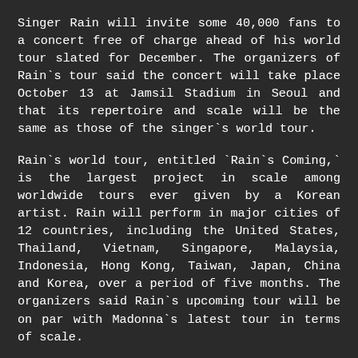Singer Rain will invite some 40,000 fans to a concert free of charge ahead of his world tour slated for December. The organizers of Rain`s tour said the concert will take place October 13 at Jamsil Stadium in Seoul and that its repertoire and scale will be the same as those of the singer`s world tour.
Rain`s world tour, entitled `Rain`s Coming,` is the largest project in scale among worldwide tours ever given by a Korean artist. Rain will perform in major cities of 12 countries, including the United States, Thailand, Vietnam, Singapore, Malaysia, Indonesia, Hong Kong, Taiwan, Japan, China and Korea, over a period of five months. The organizers said Rain`s upcoming tour will be on par with Madonna`s latest tour in terms of scale.
The production crew of Rain`s tour will include several high-profile figures, such as choreographer Jamie King, who produced Madonna`s `Confession Tour` and